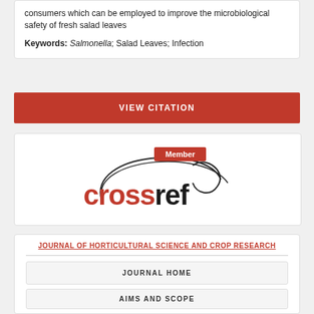consumers which can be employed to improve the microbiological safety of fresh salad leaves
Keywords: Salmonella; Salad Leaves; Infection
VIEW CITATION
[Figure (logo): CrossRef Member logo with red 'Member' badge and CrossRef wordmark in red and black]
JOURNAL OF HORTICULTURAL SCIENCE AND CROP RESEARCH
JOURNAL HOME
AIMS AND SCOPE